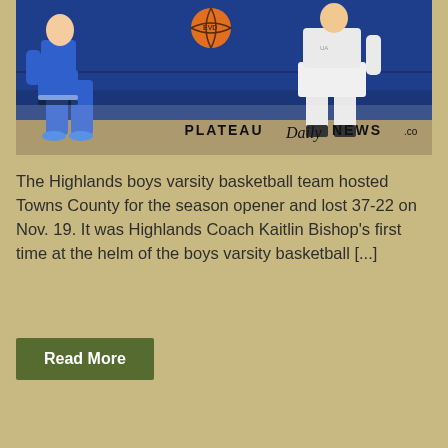[Figure (photo): Basketball game photo showing players in blue and white uniforms with a basketball in the air. Plateau Daily News watermark overlay at bottom of image.]
The Highlands boys varsity basketball team hosted Towns County for the season opener and lost 37-22 on Nov. 19. It was Highlands Coach Kaitlin Bishop's first time at the helm of the boys varsity basketball [...]
Read More